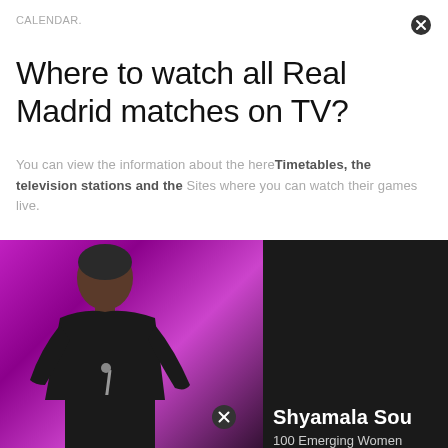CALENDAR.
Where to watch all Real Madrid matches on TV?
You can view the information about the here Timetables, the television stations and the Sites where you can watch their games live.
[Figure (photo): Photo of a woman (Shyamala Sou) speaking at a podium against a magenta/purple background, with dark panel overlay showing name and subtitle '100 Emerging Women']